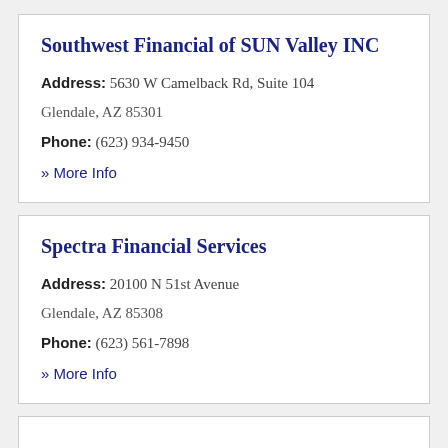Southwest Financial of SUN Valley INC
Address: 5630 W Camelback Rd, Suite 104 Glendale, AZ 85301
Phone: (623) 934-9450
» More Info
Spectra Financial Services
Address: 20100 N 51st Avenue Glendale, AZ 85308
Phone: (623) 561-7898
» More Info